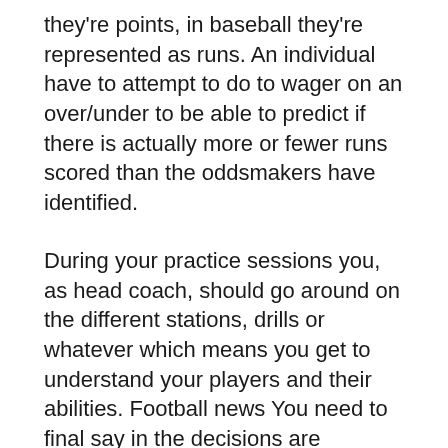they're points, in baseball they're represented as runs. An individual have to attempt to do to wager on an over/under to be able to predict if there is actually more or fewer runs scored than the oddsmakers have identified.
During your practice sessions you, as head coach, should go around on the different stations, drills or whatever which means you get to understand your players and their abilities. Football news You need to final say in the decisions are generally made a person best know your players AND their abilities.
With most of that moving on in mind of the art student, how could schools ever think of taking Art out for this curriculum? Yet